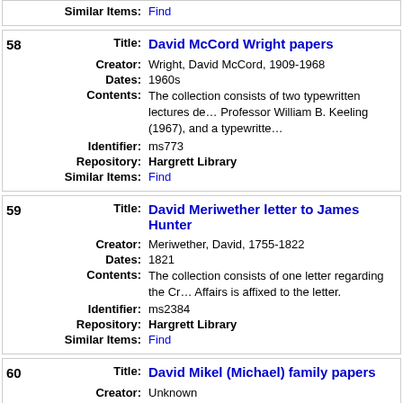Similar Items: Find
58 Title: David McCord Wright papers
Creator: Wright, David McCord, 1909-1968
Dates: 1960s
Contents: The collection consists of two typewritten lectures de... Professor William B. Keeling (1967), and a typewritte...
Identifier: ms773
Repository: Hargrett Library
Similar Items: Find
59 Title: David Meriwether letter to James Hunter
Creator: Meriwether, David, 1755-1822
Dates: 1821
Contents: The collection consists of one letter regarding the Cr... Affairs is affixed to the letter.
Identifier: ms2384
Repository: Hargrett Library
Similar Items: Find
60 Title: David Mikel (Michael) family papers
Creator: Unknown
Dates: 1812-1972